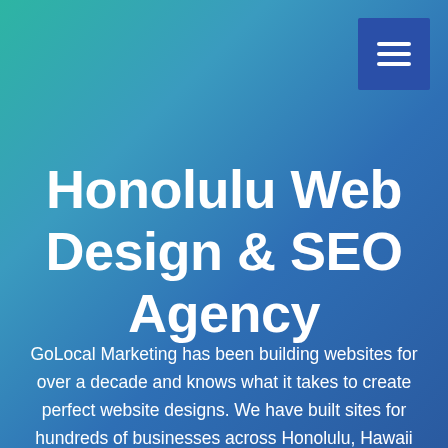[Figure (other): Hamburger menu button — dark blue square with three white horizontal lines, positioned top-right corner]
Honolulu Web Design & SEO Agency
GoLocal Marketing has been building websites for over a decade and knows what it takes to create perfect website designs. We have built sites for hundreds of businesses across Honolulu, Hawaii by catering to everyone's needs with packages ranging from single-page brochure-style websites all the way up to large e-commerce solutions. Our web designs are focused on providing exceptional